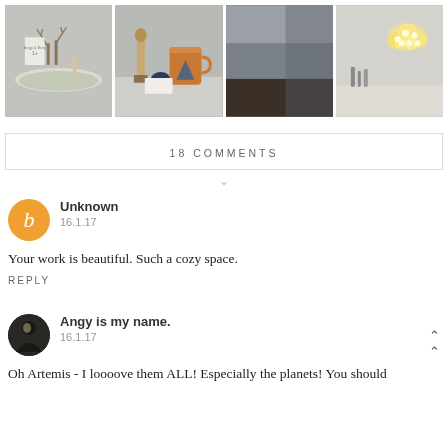[Figure (photo): Grid of 4 lifestyle/interior photos: deer figurines on table, copper mug with candle, dark moody room corner, cloud-shaped light on wall]
18 COMMENTS
[Figure (illustration): Orange Blogger avatar icon with letter B]
Unknown
16.1.17
Your work is beautiful. Such a cozy space.
REPLY
[Figure (photo): Round profile photo of Angy - dark silhouette figure]
Angy is my name.
16.1.17
Oh Artemis - I loooove them ALL! Especially the planets! You should